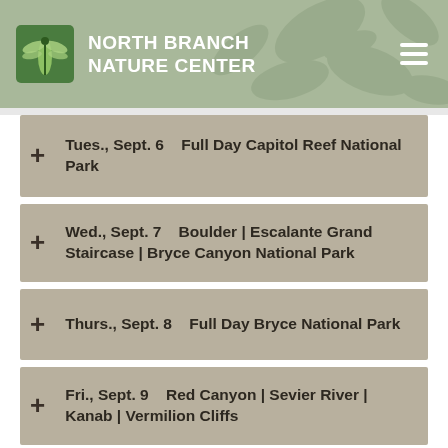North Branch Nature Center
Tues., Sept. 6    Full Day Capitol Reef National Park
Wed., Sept. 7    Boulder | Escalante Grand Staircase | Bryce Canyon National Park
Thurs., Sept. 8    Full Day Bryce National Park
Fri., Sept. 9    Red Canyon | Sevier River | Kanab | Vermilion Cliffs